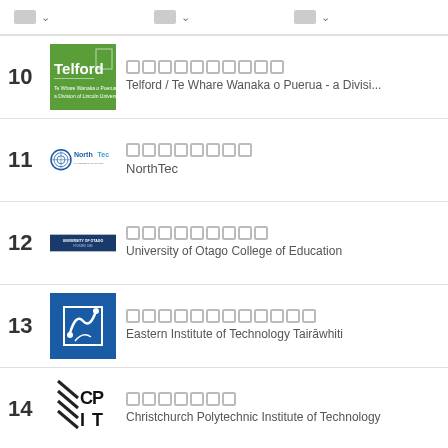□□ ∨   □□ ∨   □□ ∨
10 □□□□□□□□□□ Telford / Te Whare Wanaka o Puerua - a Divisi...
11 □□□□□□□□ NorthTec
12 □□□□□□□□□ University of Otago College of Education
13 □□□□□□□□□□□□ Eastern Institute of Technology Tairāwhiti
14 □□□□□□□ Christchurch Polytechnic Institute of Technology